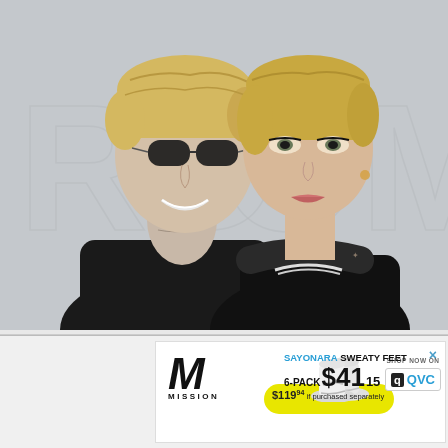[Figure (photo): Two people standing together posing for a photo. On the left, a man with blonde hair wearing sunglasses and a black distressed denim jacket with heavy neck tattoos. On the right, a woman with short blonde hair wearing a black top and a silver necklace. Background shows embossed letters 'RD' and 'OM' on a light gray surface.]
[Figure (other): Advertisement banner for MISSION brand socks. Text reads 'SAYONARA SWEATY FEET', '6-PACK $41.15', '$119.94 if purchased separately'. Features Mission logo (M), image of white ankle socks, QVC logo, and 'SHOP NOW ON' text. Yellow circular accent behind secondary price text.]